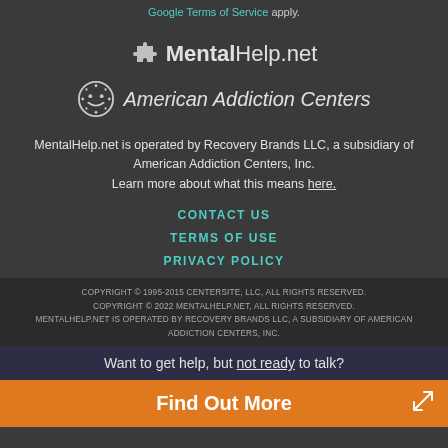Google Terms of Service apply.
[Figure (logo): MentalHelp.net logo with puzzle piece icon]
[Figure (logo): American Addiction Centers logo with circle smiley face icon]
MentalHelp.net is operated by Recovery Brands LLC, a subsidiary of American Addiction Centers, Inc. Learn more about what this means here.
CONTACT US
TERMS OF USE
PRIVACY POLICY
COPYRIGHT © 1995-2015 CENTERSITE, LLC, ALL RIGHTS RESERVED. COPYRIGHT © 2022 MENTALHELP.NET, ALL RIGHTS RESERVED. MENTALHELP.NET IS OPERATED BY RECOVERY BRANDS LLC, A SUBSIDIARY OF AMERICAN ADDICTION CENTERS, INC.
Want to get help, but not ready to talk?
Find Out More